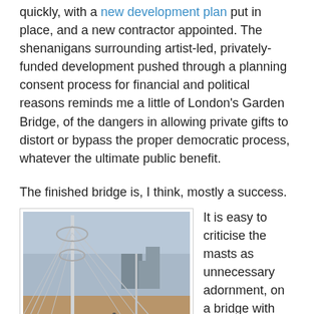quickly, with a new development plan put in place, and a new contractor appointed. The shenanigans surrounding artist-led, privately-funded development pushed through a planning consent process for financial and political reasons reminds me a little of London's Garden Bridge, of the dangers in allowing private gifts to distort or bypass the proper democratic process, whatever the ultimate public benefit.
The finished bridge is, I think, mostly a success.
[Figure (photo): Photograph of a bridge with tall masts and cable stays. The bridge deck has red railings and the sky is overcast grey. A mast with circular ring elements is prominent.]
It is easy to criticise the masts as unnecessary adornment, on a bridge with tiny spans which